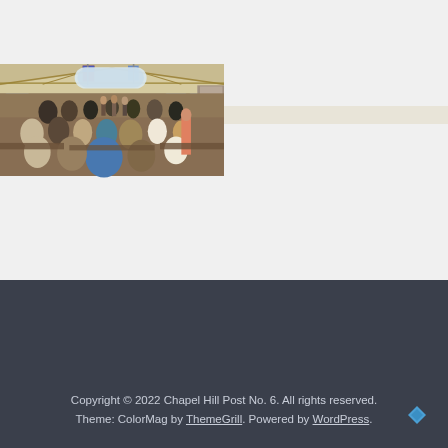[Figure (photo): Indoor gathering/banquet scene in a lodge-style building with vaulted wooden ceiling, American flags, and large windows. Many people seated at tables and some standing, with a band or performers visible at the far end.]
Copyright © 2022 Chapel Hill Post No. 6. All rights reserved. Theme: ColorMag by ThemeGrill. Powered by WordPress.